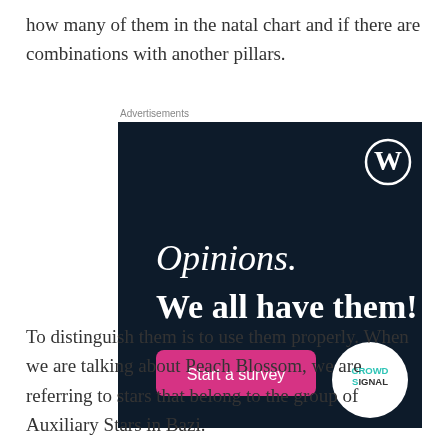how many of them in the natal chart and if there are combinations with another pillars.
Advertisements
[Figure (illustration): WordPress/CrowdSignal advertisement banner on dark navy background. Text reads 'Opinions. We all have them!' with a pink 'Start a survey' button, WordPress logo top right, CrowdSignal logo bottom right.]
To distinguish them is to use them properly. When we are talking about Peach Blossom, we are referring to stars that belong to the group of Auxiliary Stars in Bazi.